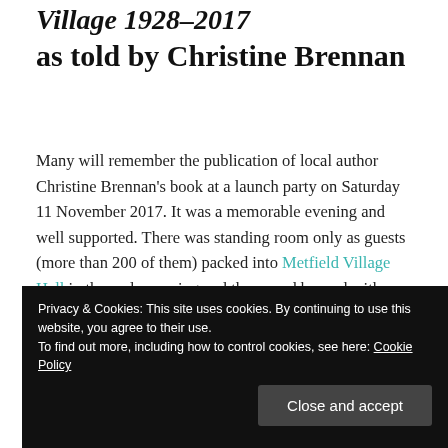Village 1928–2017
as told by Christine Brennan
Many will remember the publication of local author Christine Brennan's book at a launch party on Saturday 11 November 2017. It was a memorable evening and well supported. There was standing room only as guests (more than 200 of them) packed into Metfield Village Hall in the early evening and the crowd buzzed with excitement.
Privacy & Cookies: This site uses cookies. By continuing to use this website, you agree to their use.
To find out more, including how to control cookies, see here: Cookie Policy
appreciation from the crowd.